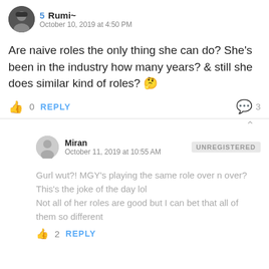5  Rumi~
October 10, 2019 at 4:50 PM
Are naive roles the only thing she can do? She's been in the industry how many years? & still she does similar kind of roles? 🤔
👍 0  REPLY   💬 3
Miran
October 11, 2019 at 10:55 AM
UNREGISTERED
Gurl wut?! MGY's playing the same role over n over?
This's the joke of the day lol
Not all of her roles are good but I can bet that all of them so different
👍 2  REPLY